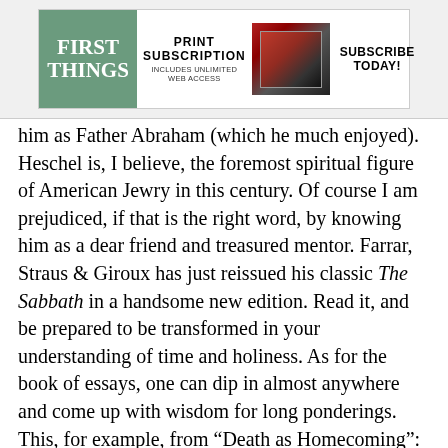[Figure (other): First Things magazine advertisement banner showing logo, print subscription offer, device images, and subscribe today call to action]
him as Father Abraham (which he much enjoyed). Heschel is, I believe, the foremost spiritual figure of American Jewry in this century. Of course I am prejudiced, if that is the right word, by knowing him as a dear friend and treasured mentor. Farrar, Straus & Giroux has just reissued his classic The Sabbath in a handsome new edition. Read it, and be prepared to be transformed in your understanding of time and holiness. As for the book of essays, one can dip in almost anywhere and come up with wisdom for long ponderings. This, for example, from “Death as Homecoming”: “The ultimate hope for a life beyond the grave was not born in reflection about the soul but rather in reflection about God and what He does and means to the soul. God’s being a shelter and a refuge